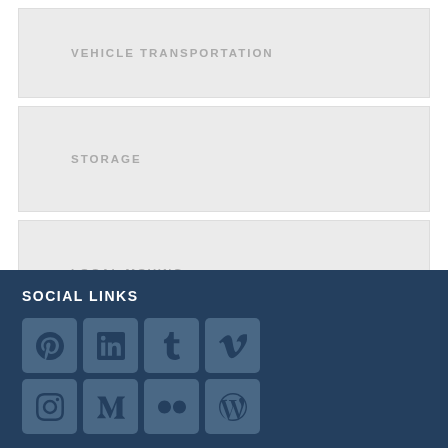VEHICLE TRANSPORTATION
STORAGE
LOCAL MOVING
LONG DISTANCE MOVING
SOCIAL LINKS
[Figure (infographic): Social media icon grid with 8 icons: Pinterest, LinkedIn, Tumblr, Vimeo (top row); Instagram, Meerkat/M, Flickr, WordPress (bottom row)]